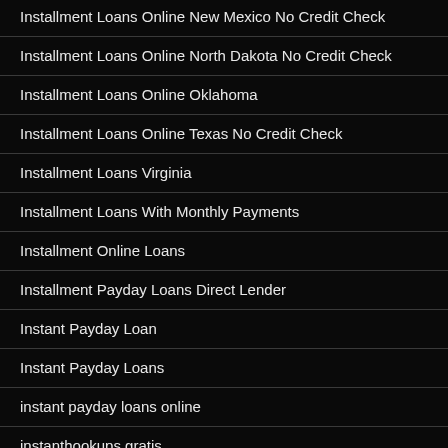Installment Loans Online New Mexico No Credit Check
Installment Loans Online North Dakota No Credit Check
Installment Loans Online Oklahoma
Installment Loans Online Texas No Credit Check
Installment Loans Virginia
Installment Loans With Monthly Payments
Installment Online Loans
Installment Payday Loans Direct Lender
Instant Payday Loan
Instant Payday Loans
instant payday loans online
instanthookups gratis
International Brides